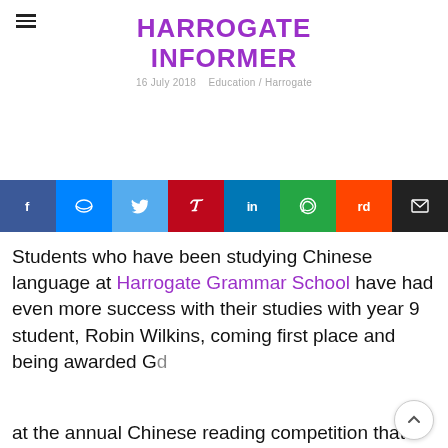HARROGATE INFORMER
16 July 2018   Education / Harrogate
[Figure (other): Social sharing buttons: Facebook, Messenger, Twitter, Pinterest, LinkedIn, WhatsApp, Reddit, Email]
Students who have been studying Chinese language at Harrogate Grammar School have had even more success with their studies with year 9 student, Robin Wilkins, coming first place and being awarded G d at the annual Chinese reading competition that took